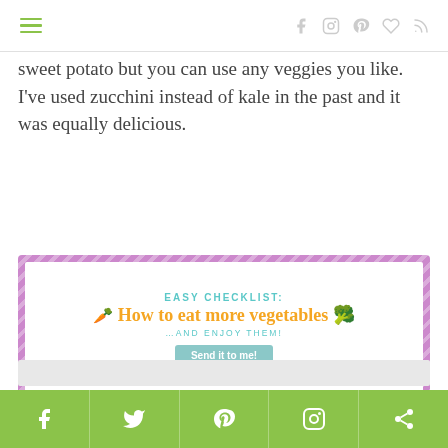Navigation menu and social icons (Facebook, Instagram, Pinterest, heart, RSS)
sweet potato but you can use any veggies you like. I’ve used zucchini instead of kale in the past and it was equally delicious.
[Figure (infographic): Easy Checklist: How to eat more vegetables …AND ENJOY THEM! with a Send it to me! button, purple striped border]
Feel free to sprinkle on your favorite cheeses too. Dairy isn’t my friend (whomp whomp), but go to town if it’s yours.
Social share bar: Facebook, Twitter, Pinterest, Instagram, Share